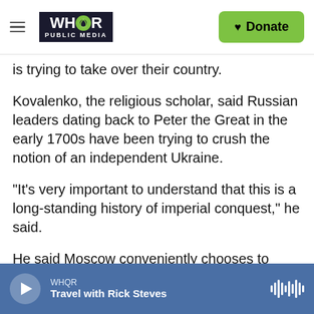WHQR PUBLIC MEDIA — Donate
is trying to take over their country.
Kovalenko, the religious scholar, said Russian leaders dating back to Peter the Great in the early 1700s have been trying to crush the notion of an independent Ukraine.
"It's very important to understand that this is a long-standing history of imperial conquest," he said.
He said Moscow conveniently chooses to ignore key historical facts. When Volodymyr ruled, his territory included parts of modern-day Ukraine, Russia and Belarus. The city of Moscow didn't exist
WHQR — Travel with Rick Steves